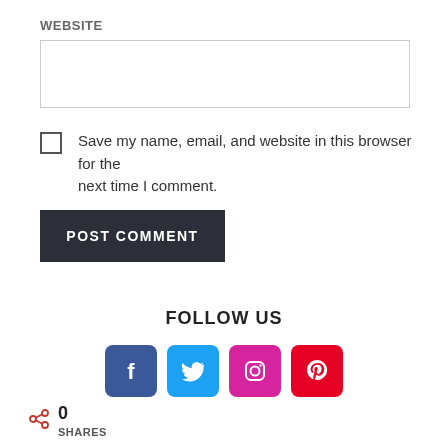WEBSITE
Save my name, email, and website in this browser for the next time I comment.
POST COMMENT
FOLLOW US
[Figure (infographic): Social media icons: Facebook, Twitter, Instagram, Pinterest]
0 SHARES